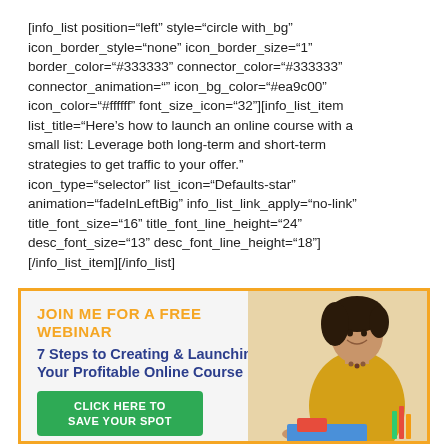[info_list position="left" style="circle with_bg" icon_border_style="none" icon_border_size="1" border_color="#333333" connector_color="#333333" connector_animation="" icon_bg_color="#ea9c00" icon_color="#ffffff" font_size_icon="32"][info_list_item list_title="Here’s how to launch an online course with a small list: Leverage both long-term and short-term strategies to get traffic to your offer." icon_type="selector" list_icon="Defaults-star" animation="fadeInLeftBig" info_list_link_apply="no-link" title_font_size="16" title_font_line_height="24" desc_font_size="13" desc_font_line_height="18"][/info_list_item][/info_list]
[Figure (infographic): Webinar advertisement banner with orange border. Text: JOIN ME FOR A FREE WEBINAR, 7 Steps to Creating & Launching Your Profitable Online Course, green button CLICK HERE TO SAVE YOUR SPOT. Photo of a smiling woman in yellow top on the right.]